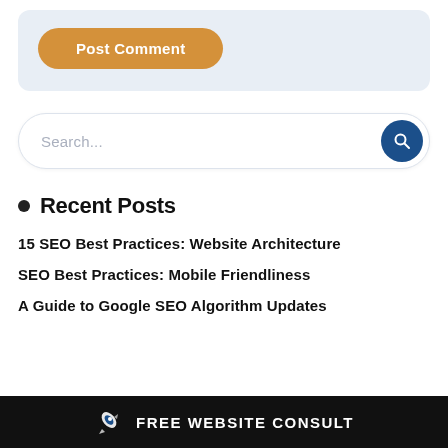[Figure (other): Post Comment button — golden/amber rounded pill button on light blue-gray background]
[Figure (other): Search bar with placeholder text 'Search...' and dark blue circular search icon button on the right]
Recent Posts
15 SEO Best Practices: Website Architecture
SEO Best Practices: Mobile Friendliness
A Guide to Google SEO Algorithm Updates
FREE WEBSITE CONSULT